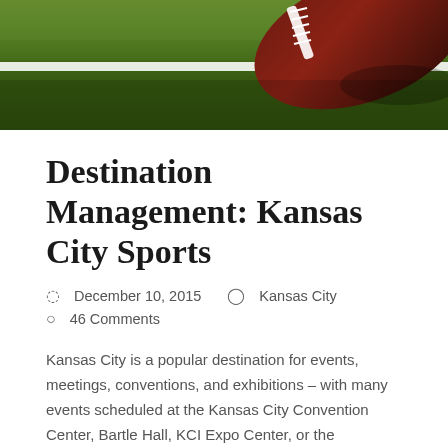[Figure (photo): A close-up photograph of an American football on green grass near the white yard line marking, viewed from the side. The ball is dark red/brown with white laces, positioned in the upper right area of the image.]
Destination Management: Kansas City Sports
December 10, 2015   Kansas City
46 Comments
Kansas City is a popular destination for events, meetings, conventions, and exhibitions – with many events scheduled at the Kansas City Convention Center, Bartle Hall, KCI Expo Center, or the International Trade Center. But after the events of the day…
Read more